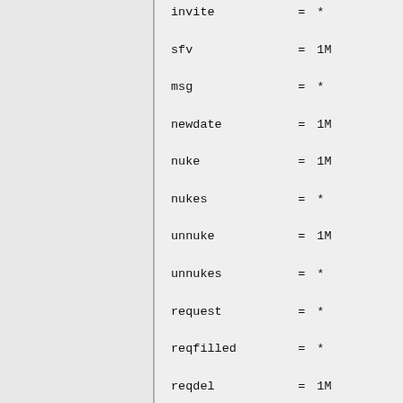invite = *
sfv = 1M
msg = *
newdate = 1M
nuke = 1M
nukes = *
unnuke = 1M
unnukes = *
request = *
reqfilled = *
reqdel = 1M
pre = 1G
prestats = 1
wipe = 1MV
take = 1MV
give = 1MV
search = *
searchirc = *
rescan = 1MV
rescanall = 1MV
onel = *
size = 1M